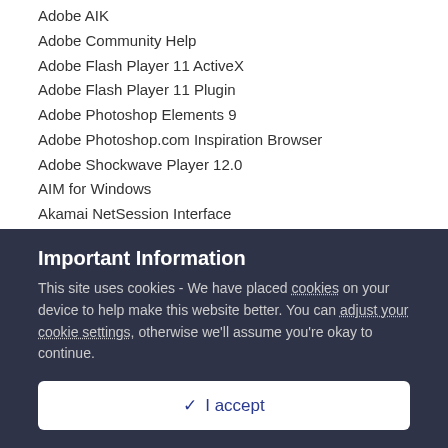Adobe AIK
Adobe Community Help
Adobe Flash Player 11 ActiveX
Adobe Flash Player 11 Plugin
Adobe Photoshop Elements 9
Adobe Photoshop.com Inspiration Browser
Adobe Shockwave Player 12.0
AIM for Windows
Akamai NetSession Interface
Apple Application Support
Apple Mobile Device Support
Apple Software Update
Asmedia ASM104x USB 3.0 Host Controller Driver
Important Information
This site uses cookies - We have placed cookies on your device to help make this website better. You can adjust your cookie settings, otherwise we'll assume you're okay to continue.
✓  I accept